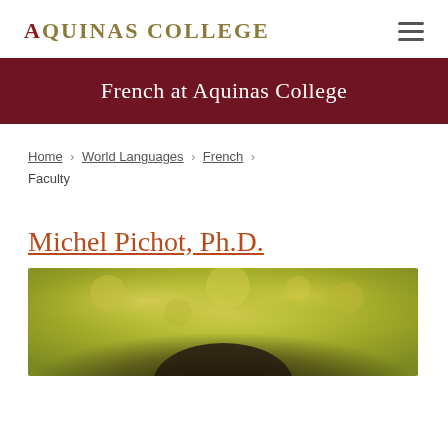AQUINAS COLLEGE
French at Aquinas College
Home › World Languages › French › Faculty
Michel Pichot, Ph.D.
[Figure (photo): Photo of Michel Pichot with blurred yellow-green foliage background]